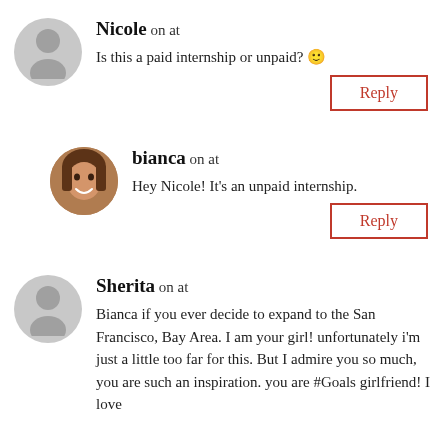Nicole on at
Is this a paid internship or unpaid? 🙂
Reply
bianca on at
Hey Nicole! It's an unpaid internship.
Reply
Sherita on at
Bianca if you ever decide to expand to the San Francisco, Bay Area. I am your girl! unfortunately i'm just a little too far for this. But I admire you so much, you are such an inspiration. you are #Goals girlfriend! I love